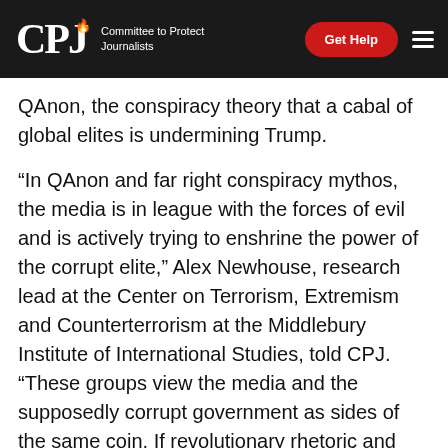CPJ Committee to Protect Journalists | Get Help
QAnon, the conspiracy theory that a cabal of global elites is undermining Trump.
“In QAnon and far right conspiracy mythos, the media is in league with the forces of evil and is actively trying to enshrine the power of the corrupt elite,” Alex Newhouse, research lead at the Center on Terrorism, Extremism and Counterterrorism at the Middlebury Institute of International Studies, told CPJ. “These groups view the media and the supposedly corrupt government as sides of the same coin. If revolutionary rhetoric and violence has been normalized… [these groups are] going to target